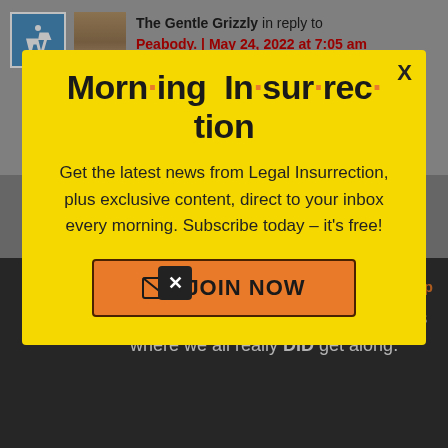The Gentle Grizzly in reply to Peabody. | May 24, 2022 at 7:05 am
[Figure (infographic): Morning Insurrection newsletter popup modal with yellow background, title 'Morn·ing In·sur·rec·tion', body text about subscribing, and a JOIN NOW button]
and the surrounding streets was one of those RARE mixed neighborhoods where we all really DID get along.